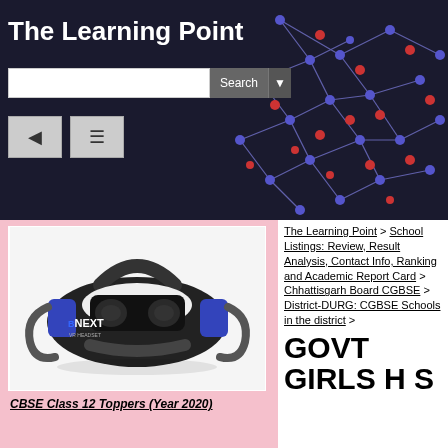The Learning Point
[Figure (screenshot): Website header with dark background showing network/constellation graphic with red and blue dots connected by lines. Contains search bar and navigation icons.]
[Figure (photo): BNEXT VR Headset product photo on white/pink background]
CBSE Class 12 Toppers (Year 2020)
The Learning Point > School Listings: Review, Result Analysis, Contact Info, Ranking and Academic Report Card > Chhattisgarh Board CGBSE > District-DURG: CGBSE Schools in the district >
GOVT GIRLS H S